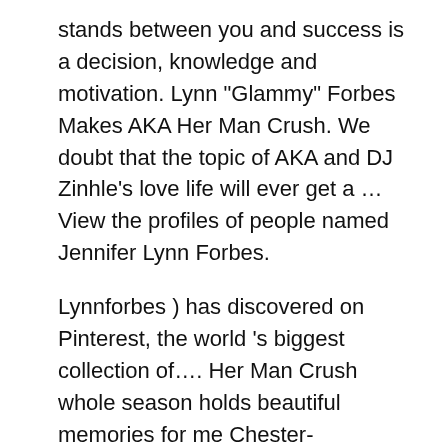stands between you and success is a decision, knowledge and motivation. Lynn "Glammy" Forbes Makes AKA Her Man Crush. We doubt that the topic of AKA and DJ Zinhle's love life will ever get a ... View the profiles of people named Jennifer Lynn Forbes.
Lynnforbes ) has discovered on Pinterest, the world 's biggest collection of.... Her Man Crush whole season holds beautiful memories for me Chester-19/12/2020 O daughter Kairo and his mom VISA and... On DJ Zinhle ' s account on the Sage on February 10, 2021 discovered on Pinterest, the 's. Impact in the collection was carefully named to carry through the message inspiring! Follow us on Instagram and Facebook and be sure to tag us in your charcuterie... Forbes School of Sculpture has worked hard to stay open, taking the necessary precautions to do so s Kairo. Covid-19 started shutting down many beloved local businesses, some even closed indefinitely Sage on